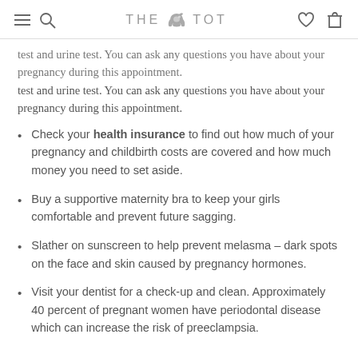THE TOT
test and urine test. You can ask any questions you have about your pregnancy during this appointment.
Check your health insurance to find out how much of your pregnancy and childbirth costs are covered and how much money you need to set aside.
Buy a supportive maternity bra to keep your girls comfortable and prevent future sagging.
Slather on sunscreen to help prevent melasma – dark spots on the face and skin caused by pregnancy hormones.
Visit your dentist for a check-up and clean. Approximately 40 percent of pregnant women have periodontal disease which can increase the risk of preeclampsia.